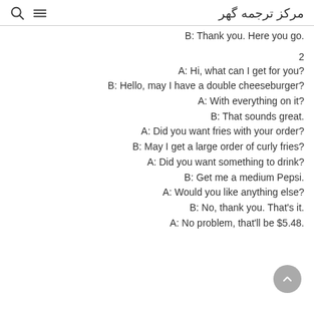مرکز ترجمه گهر
B: Thank you. Here you go.
2
A: Hi, what can I get for you?
B: Hello, may I have a double cheeseburger?
A: With everything on it?
B: That sounds great.
A: Did you want fries with your order?
B: May I get a large order of curly fries?
A: Did you want something to drink?
B: Get me a medium Pepsi.
A: Would you like anything else?
B: No, thank you. That's it.
A: No problem, that'll be $5.48.